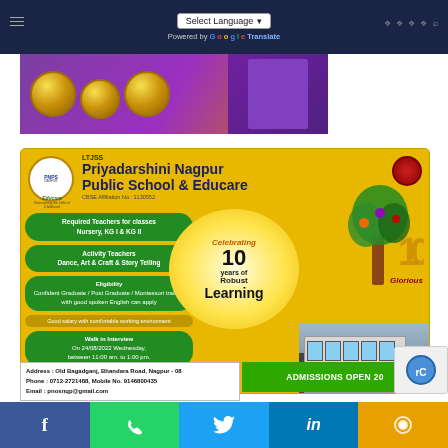Select Language | Powered by Google Translate
[Figure (photo): Banner image with gold trophies/medals and person in purple shirt]
[Figure (infographic): Priyadarshini Nagpur Public School & Educare advertisement. LTJSS branding. Required Teachers for classes Nursery, KG I & KG II. Activity Teachers - Dance, Art & Craft & Story Telling. Eligibility: Confident Graduate/Post Graduate/Montessori trained with good spoken English can apply. Good salary with comfortable working environment. Walk in Interview on 24/08/2022 Wednesday, between 11:00 am. to 1:00 pm. Celebrating 10 years of Robust Learning. CBSE Affiliation No.: 1130552.]
Address : Old Bagadganj, Bhandara Road, Nagpur - 08
Phone : 0712-2721488, Mobile No. 9146800435
Email : pnosnqp@gmail.com
ADMISSIONS OPEN 20
Facebook | WhatsApp | Twitter | LinkedIn | Link